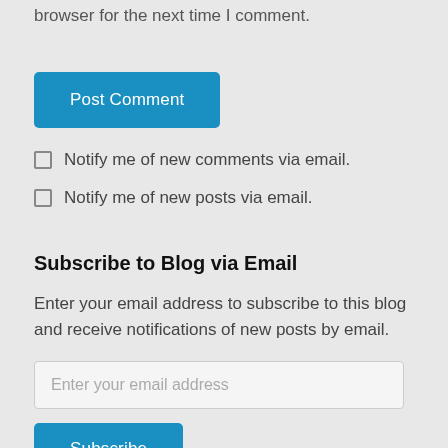browser for the next time I comment.
Post Comment
Notify me of new comments via email.
Notify me of new posts via email.
Subscribe to Blog via Email
Enter your email address to subscribe to this blog and receive notifications of new posts by email.
Enter your email address
Subscribe